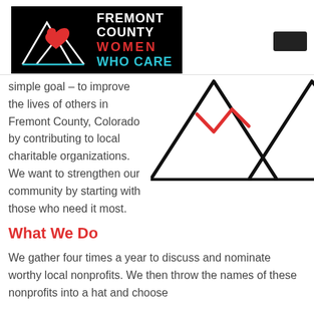[Figure (logo): Fremont County Women Who Care logo: black background with mountain/heart illustration on left, text FREMONT COUNTY WOMEN WHO CARE on right in white, red, and teal]
[Figure (illustration): Large mountain outline illustration with red heart/chevron shape at the peak, in black and red lines on white background]
simple goal – to improve the lives of others in Fremont County, Colorado by contributing to local charitable organizations. We want to strengthen our community by starting with those who need it most.
What We Do
We gather four times a year to discuss and nominate worthy local nonprofits. We then throw the names of these nonprofits into a hat and choose